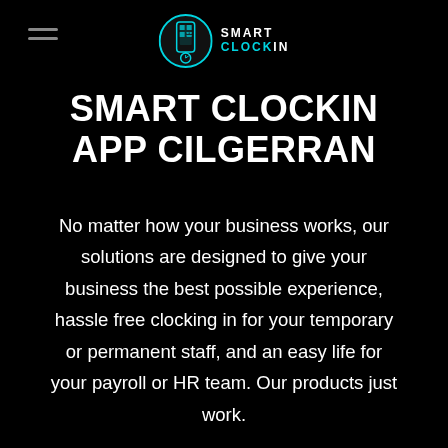[Figure (logo): Smart Clockin logo: circular icon with phone/QR code graphic in teal, with text SMART CLOCKIN beside it]
SMART CLOCKIN APP CILGERRAN
No matter how your business works, our solutions are designed to give your business the best possible experience, hassle free clocking in for your temporary or permanent staff, and an easy life for your payroll or HR team. Our products just work.